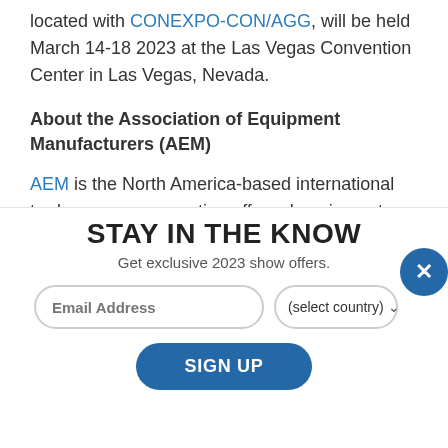located with CONEXPO-CON/AGG, will be held March 14-18 2023 at the Las Vegas Convention Center in Las Vegas, Nevada.
About the Association of Equipment Manufacturers (AEM)
AEM is the North America-based international trade group representing off-road equipment manufacturers and suppliers with more than 1,000
STAY IN THE KNOW
Get exclusive 2023 show offers.
Email Address | (select country)
SIGN UP